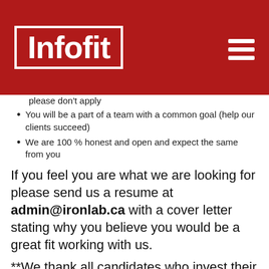[Figure (logo): Infofit logo in white text on red background with white border, and hamburger menu icon top right]
please don't apply
You will be a part of a team with a common goal (help our clients succeed)
We are 100 % honest and open and expect the same from you
If you feel you are what we are looking for please send us a resume at admin@ironlab.ca with a cover letter stating why you believe you would be a great fit working with us.
**We thank all candidates who invest their time and energy to apply, however only those whose resumes and cover letters match our requirements will be invited for a Zoom